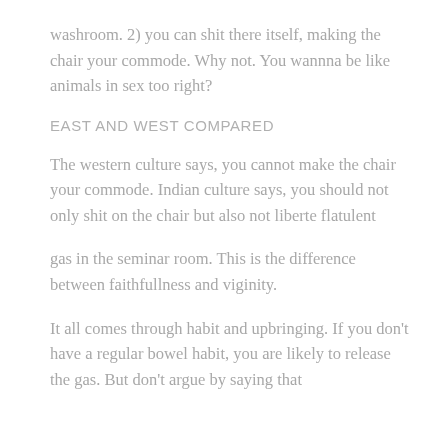washroom. 2) you can shit there itself, making the chair your commode. Why not. You wannna be like animals in sex too right?
EAST AND WEST COMPARED
The western culture says, you cannot make the chair your commode. Indian culture says, you should not only shit on the chair but also not liberte flatulent
gas in the seminar room. This is the difference between faithfullness and viginity.
It all comes through habit and upbringing. If you don't have a regular bowel habit, you are likely to release the gas. But don't argue by saying that